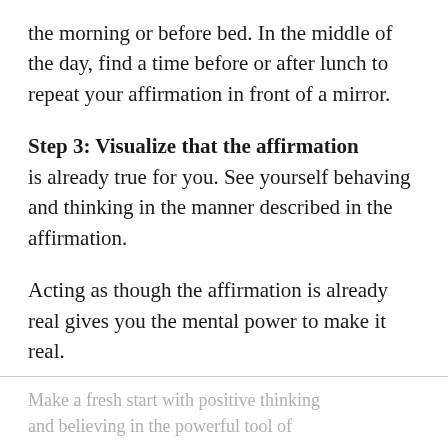the morning or before bed. In the middle of the day, find a time before or after lunch to repeat your affirmation in front of a mirror.
Step 3: Visualize that the affirmation is already true for you. See yourself behaving and thinking in the manner described in the affirmation.
Acting as though the affirmation is already real gives you the mental power to make it real.
Make a fresh start with positive thinking and believing in the powerful tool of